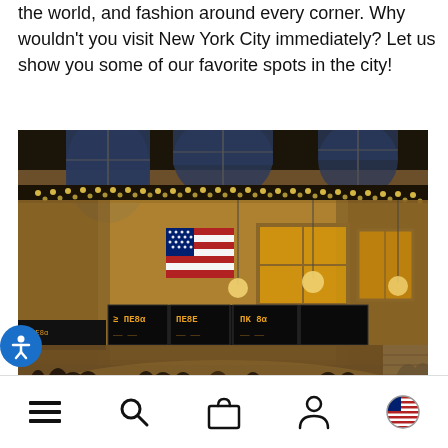the world, and fashion around every corner. Why wouldn't you visit New York City immediately? Let us show you some of our favorite spots in the city!
[Figure (photo): Interior panoramic photo of Grand Central Terminal in New York City, showing the ornate beaux-arts architecture with arched windows, decorative string lights along the curved ceiling frieze, hanging globe pendant lights, an American flag displayed prominently, large departure board displays, and crowds of commuters walking across the main concourse floor.]
Navigation bar with menu, search, bag, account, and flag/region icons